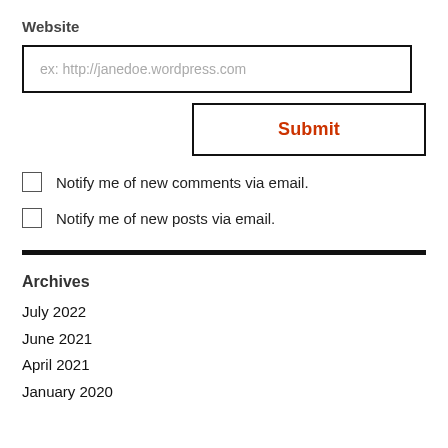Website
ex: http://janedoe.wordpress.com
Submit
Notify me of new comments via email.
Notify me of new posts via email.
Archives
July 2022
June 2021
April 2021
January 2020